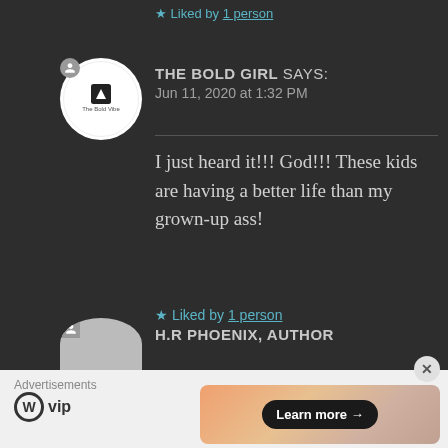★ Liked by 1 person
THE BOLD GIRL says:
Jun 11, 2020 at 1:32 PM
I just heard it!!! God!!! These kids are having a better life than my grown-up ass!
★ Liked by 1 person
H.R PHOENIX, AUTHOR
Advertisements
[Figure (logo): WordPress VIP logo with wordmark]
[Figure (screenshot): Advertisement banner with Learn more button]